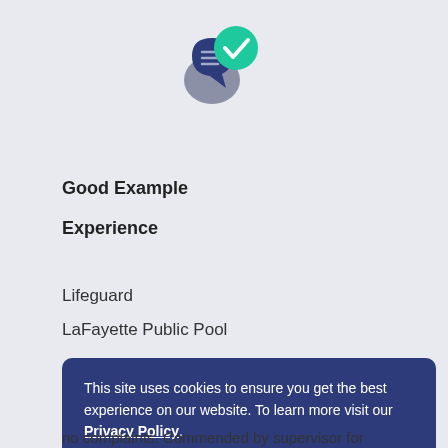[Figure (logo): A logo with two overlapping speech bubble icons — a dark navy/grey bubble with text lines and a green bubble with a white checkmark]
Good Example
Experience
Lifeguard
LaFayette Public Pool
This site uses cookies to ensure you get the best experience on our website. To learn more visit our Privacy Policy.
GOT IT!
no complaints. Commended by supervisor for